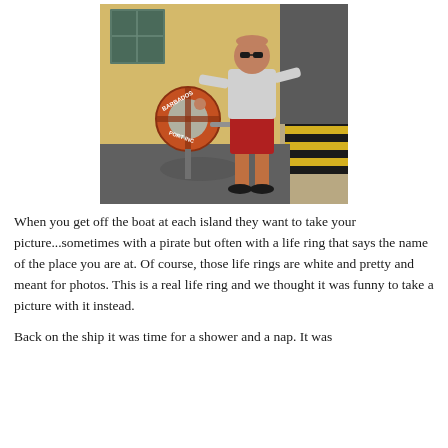[Figure (photo): A man wearing sunglasses, a grey t-shirt and red shorts stands next to an orange life ring on a dock. The life ring reads 'BARBADOS PORT INC'. He is standing on a concrete surface near a yellow-striped dock wall.]
When you get off the boat at each island they want to take your picture...sometimes with a pirate but often with a life ring that says the name of the place you are at. Of course, those life rings are white and pretty and meant for photos. This is a real life ring and we thought it was funny to take a picture with it instead.
Back on the ship it was time for a shower and a nap. It was